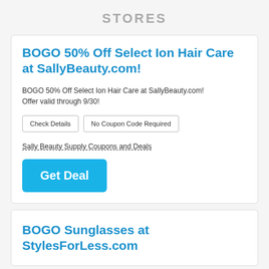STORES
BOGO 50% Off Select Ion Hair Care at SallyBeauty.com!
BOGO 50% Off Select Ion Hair Care at SallyBeauty.com! Offer valid through 9/30!
Check Details | No Coupon Code Required
Sally Beauty Supply Coupons and Deals
Get Deal
BOGO Sunglasses at StylesForLess.com